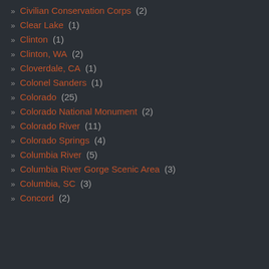» Civilian Conservation Corps (2)
» Clear Lake (1)
» Clinton (1)
» Clinton, WA (2)
» Cloverdale, CA (1)
» Colonel Sanders (1)
» Colorado (25)
» Colorado National Monument (2)
» Colorado River (11)
» Colorado Springs (4)
» Columbia River (5)
» Columbia River Gorge Scenic Area (3)
» Columbia, SC (3)
» Concord (2)